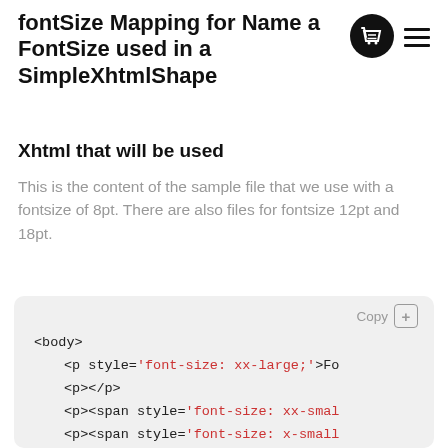fontSize Mapping for Name a FontSize used in a SimpleXhtmlShape
[Figure (illustration): Basket/shopping cart icon in black circle and hamburger menu icon]
Xhtml that will be used
This is the content of the sample file that we use with a fontsize of 8pt. There are also files for fontsize 12pt and 18pt.
[Figure (screenshot): Code block with Copy button showing XHTML code with body tag and multiple p/span elements with font-size styles: xx-large, empty p, xx-small, x-small, small, medium, large, x-large]